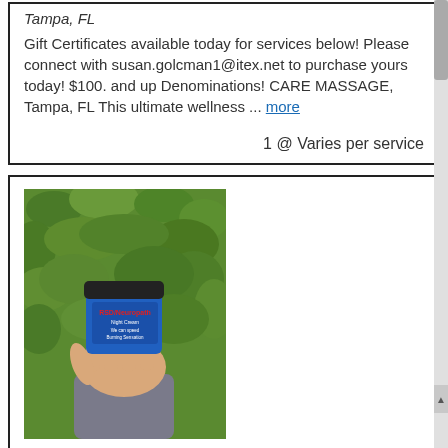Tampa, FL
Gift Certificates available today for services below! Please connect with susan.golcman1@itex.net to purchase yours today! $100. and up Denominations! CARE MASSAGE, Tampa, FL This ultimate wellness ... more
1 @ Varies per service
[Figure (photo): A hand holding a blue jar of RSD/Neuropathy Cream against a green leafy background]
RSD/Neuropathy Cream
North Olmstead, OH
RSD was originally formulated for someone with Reflexive Sympathoitic Dystrophy (or RSD). In the